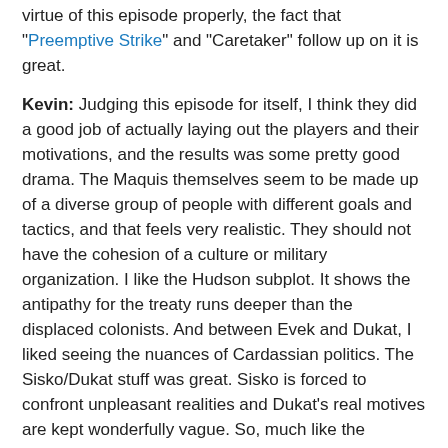virtue of this episode properly, the fact that "Preemptive Strike" and "Caretaker" follow up on it is great.
Kevin: Judging this episode for itself, I think they did a good job of actually laying out the players and their motivations, and the results was some pretty good drama. The Maquis themselves seem to be made up of a diverse group of people with different goals and tactics, and that feels very realistic. They should not have the cohesion of a culture or military organization. I like the Hudson subplot. It shows the antipathy for the treaty runs deeper than the displaced colonists. And between Evek and Dukat, I liked seeing the nuances of Cardassian politics. The Sisko/Dukat stuff was great. Sisko is forced to confront unpleasant realities and Dukat's real motives are kept wonderfully vague. So, much like the Klingon arc in TNG, I think this story definitely has some energy and life that keep me engaged. I like that the twist upon twist built well up to the finish.
Matthew: Here's the thing about elaborate story arcs. They can actually be a killer if they're dull. The mere fact of being an arc does not justify the existence of story elements (see: